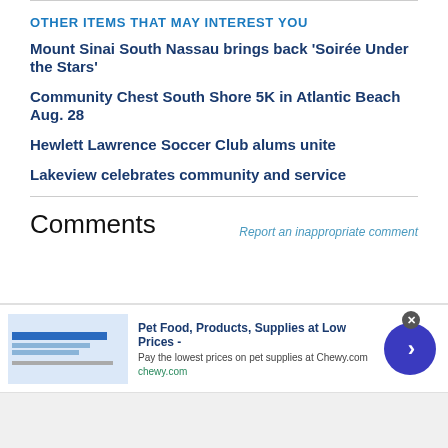OTHER ITEMS THAT MAY INTEREST YOU
Mount Sinai South Nassau brings back 'Soirée Under the Stars'
Community Chest South Shore 5K in Atlantic Beach Aug. 28
Hewlett Lawrence Soccer Club alums unite
Lakeview celebrates community and service
Comments
Report an inappropriate comment
[Figure (other): Advertisement banner for Chewy.com: Pet Food, Products, Supplies at Low Prices - Pay the lowest prices on pet supplies at Chewy.com. chewy.com]